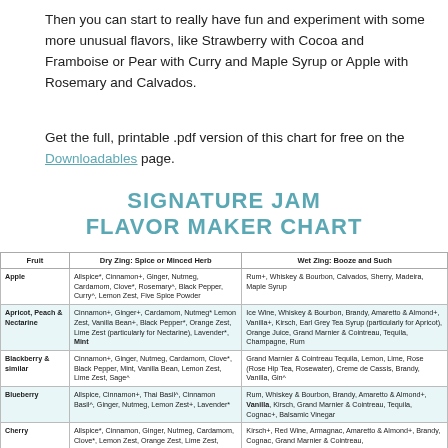Then you can start to really have fun and experiment with some more unusual flavors, like Strawberry with Cocoa and Framboise or Pear with Curry and Maple Syrup or Apple with Rosemary and Calvados.
Get the full, printable .pdf version of this chart for free on the Downloadables page.
Signature Jam Flavor Maker Chart
| Fruit | Dry Zing: Spice or Minced Herb | Wet Zing: Booze and Such |
| --- | --- | --- |
| Apple | Allspice*, Cinnamon+, Ginger, Nutmeg, Cardamom, Clove*, Rosemary^, Black Pepper, Curry^, Lemon Zest, Five Spice Powder | Rum+, Whiskey & Bourbon, Calvados, Sherry, Madeira, Maple Syrup |
| Apricot, Peach & Nectarine | Cinnamon+, Ginger+, Cardamom, Nutmeg* Lemon Zest, Vanilla Bean+, Black Pepper*, Orange Zest, Lime Zest (particularly for Nectarine), Lavender*, Mint | Ice Wine, Whiskey & Bourbon, Brandy, Amaretto & Almond+, Vanilla+, Kirsch, Earl Grey Tea Syrup (particularly for Apricot), Orange Juice, Grand Marnier & Cointreau, Tequila, Champagne, Rum |
| Blackberry & similar | Cinnamon+, Ginger, Nutmeg, Cardamom, Clove*, Black Pepper, Mint, Vanilla Bean, Lemon Zest, Lime Zest, Sage^ | Grand Marnier & Cointreau Tequila, Lemon, Lime, Rose (Rose Hip Tea, Rosewater), Creme de Cassis, Brandy, Vanilla, Gin^ |
| Blueberry | Allspice, Cinnamon+, Thai Basil^, Cinnamon Basil^, Ginger, Nutmeg, Lemon Zest+, Lavender* | Rum, Whiskey & Bourbon, Brandy, Amaretto & Almond+, Vanilla, Kirsch, Grand Marnier & Cointreau, Tequila, Cognac+, Balsamic Vinegar |
| Cherry | Allspice*, Cinnamon, Ginger, Nutmeg, Cardamom, Clove*, Lemon Zest, Orange Zest, Lime Zest, | Kirsch+, Red Wine, Armagnac, Amaretto & Almond+, Brandy, Cognac, Grand Marnier & Cointreau, |